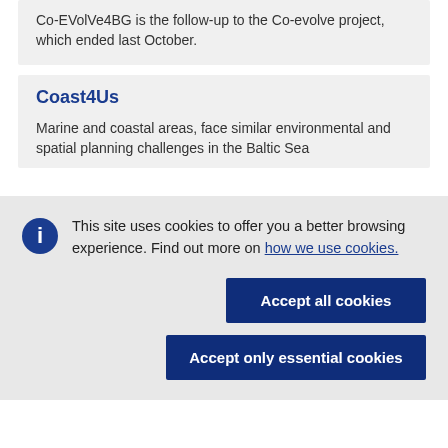Co-EVolVe4BG is the follow-up to the Co-evolve project, which ended last October.
Coast4Us
Marine and coastal areas, face similar environmental and spatial planning challenges in the Baltic Sea
This site uses cookies to offer you a better browsing experience. Find out more on how we use cookies.
Accept all cookies
Accept only essential cookies